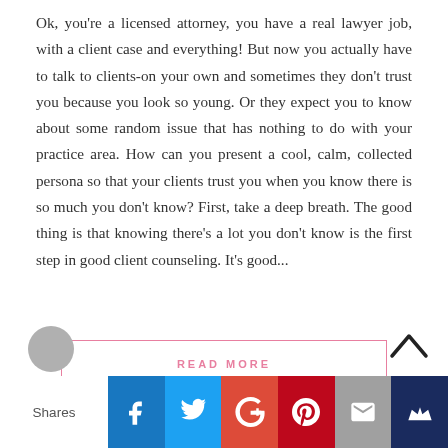Ok, you're a licensed attorney, you have a real lawyer job, with a client case and everything! But now you actually have to talk to clients-on your own and sometimes they don't trust you because you look so young. Or they expect you to know about some random issue that has nothing to do with your practice area. How can you present a cool, calm, collected persona so that your clients trust you when you know there is so much you don't know? First, take a deep breath. The good thing is that knowing there's a lot you don't know is the first step in good client counseling. It's good...
READ MORE
[Figure (other): Social share bar with buttons for Facebook, Twitter, Google+, Pinterest, Email, and Bookmark. Label 'Shares' on the left.]